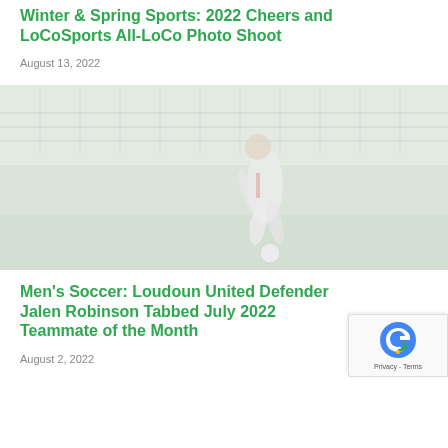Winter & Spring Sports: 2022 Cheers and LoCoSports All-LoCo Photo Shoot
August 13, 2022
[Figure (photo): Faded/washed-out photo of a youth soccer player on a field with a fence in the background]
Men's Soccer: Loudoun United Defender Jalen Robinson Tabbed July 2022 Teammate of the Month
August 2, 2022